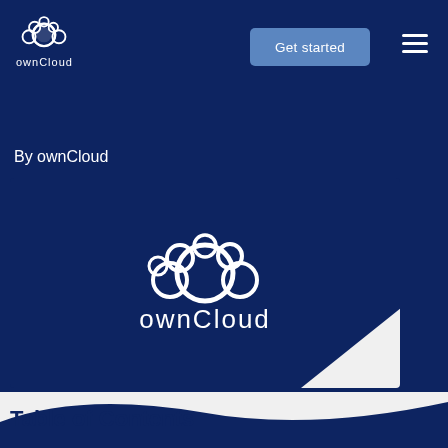ownCloud
By ownCloud
[Figure (logo): ownCloud logo centered on dark navy background — white cloud bubble graphic above white 'ownCloud' logotype text]
Table of Contents